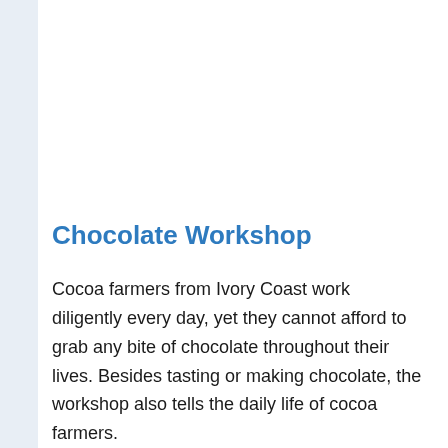Chocolate Workshop
Cocoa farmers from Ivory Coast work diligently every day, yet they cannot afford to grab any bite of chocolate throughout their lives. Besides tasting or making chocolate, the workshop also tells the daily life of cocoa farmers.